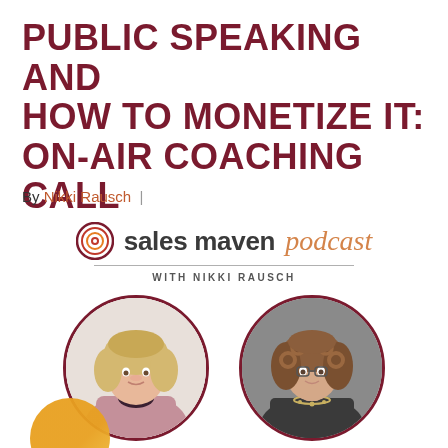PUBLIC SPEAKING AND HOW TO MONETIZE IT: ON-AIR COACHING CALL
By Nikki Rausch |
[Figure (logo): Sales Maven Podcast logo with spiral icon, bold 'sales maven' text and italic orange 'podcast' text, with 'WITH NIKKI RAUSCH' subtitle]
[Figure (photo): Two circular portrait photos side by side: left shows a woman with blonde hair wearing a pink/mauve jacket, right shows a woman with curly auburn hair wearing a dark grey top with a necklace, both on light/grey backgrounds]